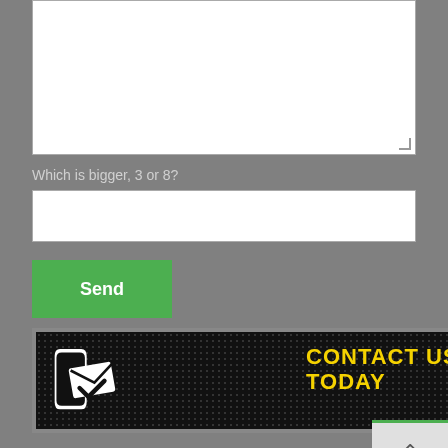Which is bigger, 3 or 8?
Send
[Figure (infographic): Contact Us Today banner with phone/email icon on dark dotted background and yellow bold text reading CONTACT US TODAY]